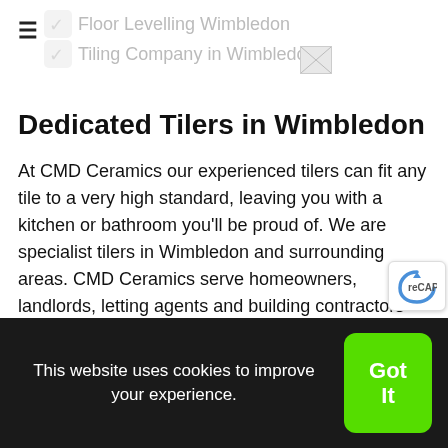Floor Levelling Wimbledon | Tiling Company in Wimbledon
Dedicated Tilers in Wimbledon
At CMD Ceramics our experienced tilers can fit any tile to a very high standard, leaving you with a kitchen or bathroom you'll be proud of. We are specialist tilers in Wimbledon and surrounding areas. CMD Ceramics serve homeowners, landlords, letting agents and building contractors and anyone who needs tiles installed. We will install any choice of tile including large porcelains, all natural stone and mosaics to a very high standard. CMD Ceramics can also help with removing your old tiles, preparing surfaces and even install underfloor heat
This website uses cookies to improve your experience.